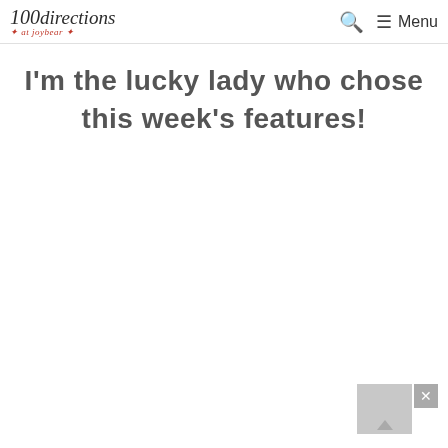100directions at joybear — Search — Menu
I'm the lucky lady who chose this week's features!